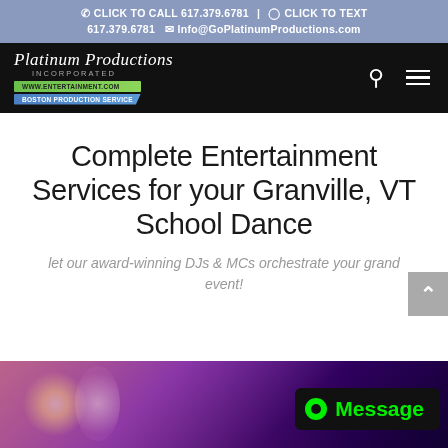CLICK TO CALL 617.379.6781 | CLICK TO TEXT 617.379.6781  Info@GoPlatinumProductions.com
[Figure (logo): Platinum Productions Incorporated logo with green and blue badge banners on black navigation bar, with search and hamburger menu icons]
Complete Entertainment Services for your Granville, VT School Dance
let our award-winning DJs & MCs orchestrate your grand event!
[Figure (photo): Dark purple/pink concert lighting background at the bottom of the page]
Message